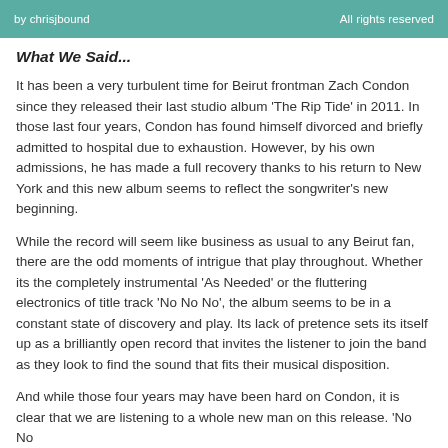by chrisjbound | All rights reserved
What We Said...
It has been a very turbulent time for Beirut frontman Zach Condon since they released their last studio album 'The Rip Tide' in 2011. In those last four years, Condon has found himself divorced and briefly admitted to hospital due to exhaustion. However, by his own admissions, he has made a full recovery thanks to his return to New York and this new album seems to reflect the songwriter's new beginning.
While the record will seem like business as usual to any Beirut fan, there are the odd moments of intrigue that play throughout. Whether its the completely instrumental 'As Needed' or the fluttering electronics of title track 'No No No', the album seems to be in a constant state of discovery and play. Its lack of pretence sets its itself up as a brilliantly open record that invites the listener to join the band as they look to find the sound that fits their musical disposition.
And while those four years may have been hard on Condon, it is clear that we are listening to a whole new man on this release. 'No No